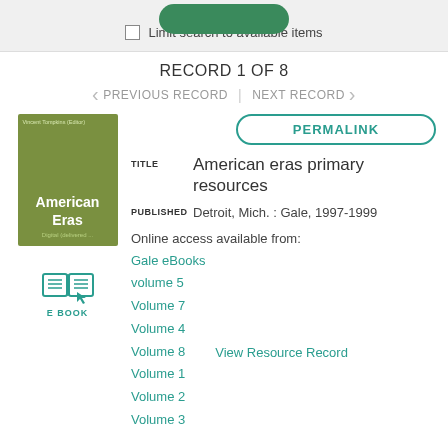Limit search to available items
RECORD 1 OF 8
PREVIOUS RECORD | NEXT RECORD
[Figure (illustration): Book cover of American Eras - olive green cover with title in white text]
[Figure (illustration): Ebook icon - open book with cursor, teal color, labeled E BOOK]
PERMALINK
TITLE  American eras primary resources
PUBLISHED  Detroit, Mich. : Gale, 1997-1999
Online access available from:
Gale eBooks
volume 5
Volume 7
Volume 4
Volume 8
Volume 1
Volume 2
Volume 3
View Resource Record